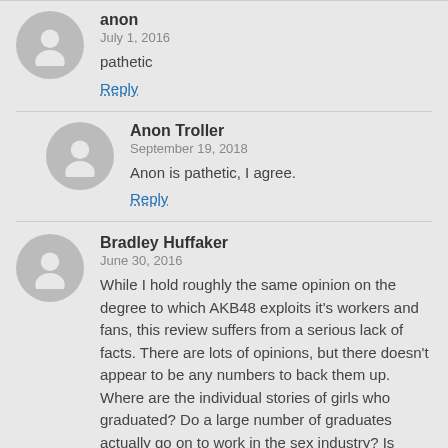anon
July 1, 2016
pathetic
Reply
Anon Troller
September 19, 2018
Anon is pathetic, I agree.
Reply
Bradley Huffaker
June 30, 2016
While I hold roughly the same opinion on the degree to which AKB48 exploits it's workers and fans, this review suffers from a serious lack of facts. There are lots of opinions, but there doesn't appear to be any numbers to back them up. Where are the individual stories of girls who graduated? Do a large number of graduates actually go on to work in the sex industry? Is AKB48 girls actual worse off then other idols or similar child